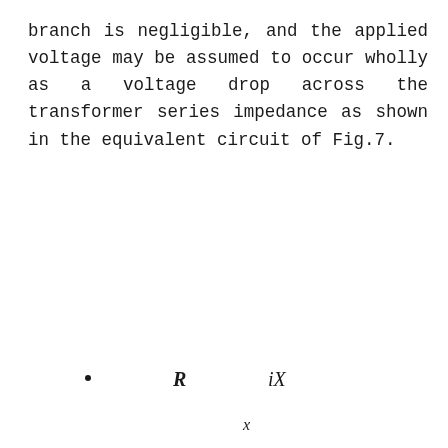branch is negligible, and the applied voltage may be assumed to occur wholly as a voltage drop across the transformer series impedance as shown in the equivalent circuit of Fig.7.
[Figure (engineering-diagram): Partial equivalent circuit diagram showing labels: a dot symbol, R (resistance), and iX (reactance component), with an x label at the bottom — partial circuit of Fig.7 transformer equivalent circuit]